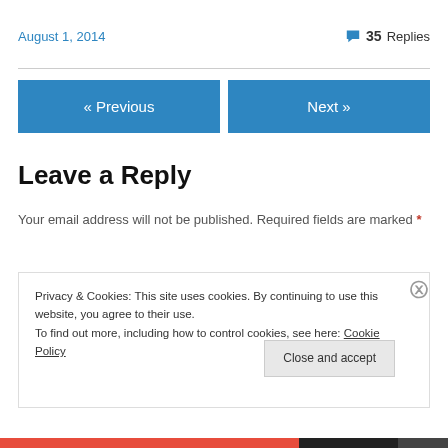August 1, 2014
💬 35 Replies
« Previous
Next »
Leave a Reply
Your email address will not be published. Required fields are marked *
Privacy & Cookies: This site uses cookies. By continuing to use this website, you agree to their use.
To find out more, including how to control cookies, see here: Cookie Policy